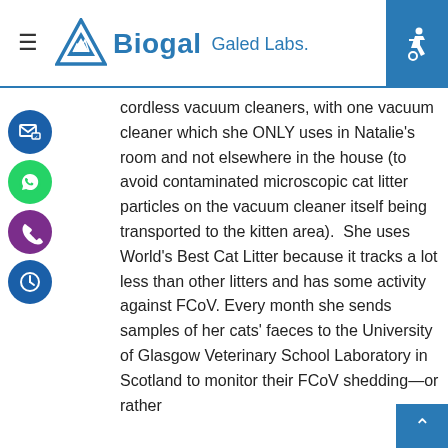Biogal Galed Labs.
cordless vacuum cleaners, with one vacuum cleaner which she ONLY uses in Natalie’s room and not elsewhere in the house (to avoid contaminated microscopic cat litter particles on the vacuum cleaner itself being transported to the kitten area).  She uses World’s Best Cat Litter because it tracks a lot less than other litters and has some activity against FCoV. Every month she sends samples of her cats’ faeces to the University of Glasgow Veterinary School Laboratory in Scotland to monitor their FCoV shedding—or rather